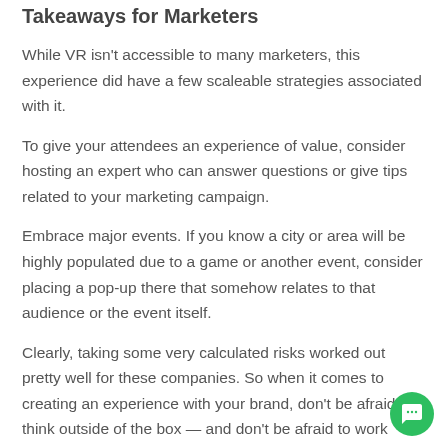Takeaways for Marketers
While VR isn't accessible to many marketers, this experience did have a few scaleable strategies associated with it.
To give your attendees an experience of value, consider hosting an expert who can answer questions or give tips related to your marketing campaign.
Embrace major events. If you know a city or area will be highly populated due to a game or another event, consider placing a pop-up there that somehow relates to that audience or the event itself.
Clearly, taking some very calculated risks worked out pretty well for these companies. So when it comes to creating an experience with your brand, don't be afraid to think outside of the box — and don't be afraid to work together on it with someone else.
Invest some time into thinking about the ways people could interact with you, even if it seems a little nutty. If it's aligned with what you